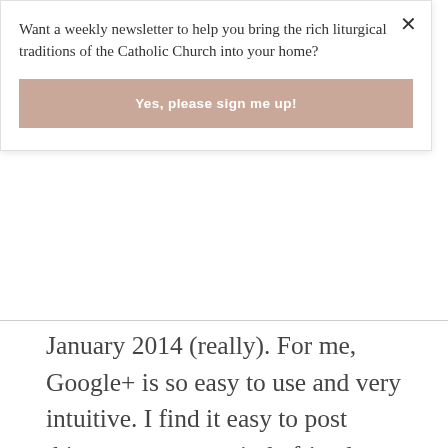Want a weekly newsletter to help you bring the rich liturgical traditions of the Catholic Church into your home?
Yes, please sign me up!
January 2014 (really). For me, Google+ is so easy to use and very intuitive. I find it easy to post things, comment, circle friends, share, etc. Facebook has me confused with my separate personal account and "business" page for my blog. I have circled you on Google+ and maybe sent